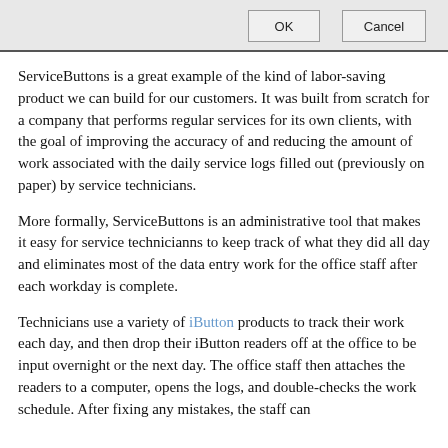[Figure (screenshot): Dialog window top bar with OK and Cancel buttons on a grey background]
ServiceButtons is a great example of the kind of labor-saving product we can build for our customers. It was built from scratch for a company that performs regular services for its own clients, with the goal of improving the accuracy of and reducing the amount of work associated with the daily service logs filled out (previously on paper) by service technicians.
More formally, ServiceButtons is an administrative tool that makes it easy for service technicianns to keep track of what they did all day and eliminates most of the data entry work for the office staff after each workday is complete.
Technicians use a variety of iButton products to track their work each day, and then drop their iButton readers off at the office to be input overnight or the next day. The office staff then attaches the readers to a computer, opens the logs, and double-checks the work schedule. After fixing any mistakes, the staff can